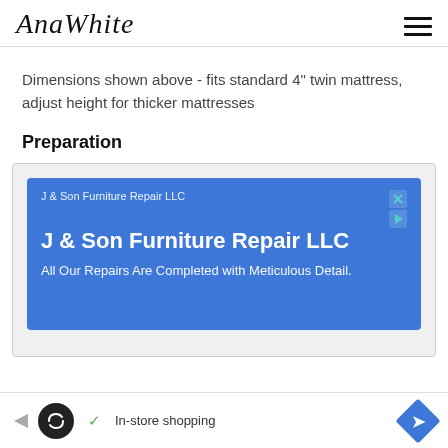AnaWhite
Dimensions shown above - fits standard 4" twin mattress, adjust height for thicker mattresses
Preparation
[Figure (infographic): Advertisement for J & Son Furniture Repair LLC on a blue background with close/skip icons in top right. Subtitle reads: All Our Repairs Are Completed with Meticulous Detail.]
[Figure (infographic): Bottom advertisement bar with Infinity symbol logo, checkmark, In-store shopping text, and blue diamond arrow icon.]